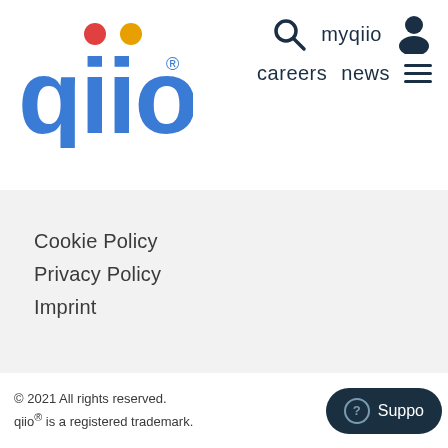[Figure (logo): qiio logo — lowercase 'qiio' in blue with a red dot above the first 'i' and an orange dot above the second 'i', with a registered trademark symbol]
careers   news   myqiio   [search icon]   [hamburger menu]
Cookie Policy
Privacy Policy
Imprint
© 2021 All rights reserved. qiio® is a registered trademark.